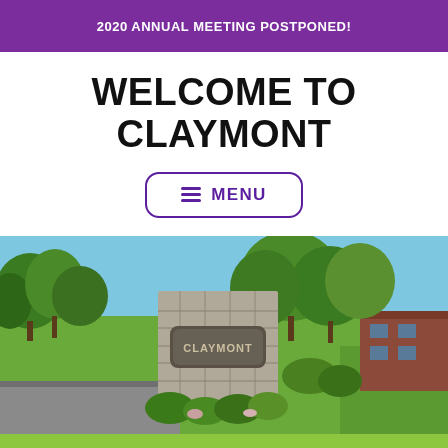2020 ANNUAL MEETING POSTPONED!
WELCOME TO CLAYMONT
≡ MENU
[Figure (photo): Outdoor photo of the Claymont neighborhood entrance stone monument sign surrounded by green trees and shrubs under a blue sky, with a brick building visible to the right.]
RECENT ANNOUNCEMENTS